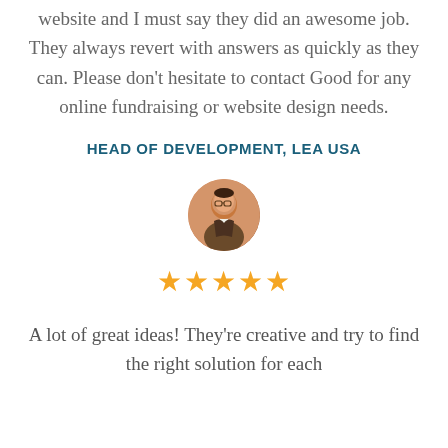website and I must say they did an awesome job. They always revert with answers as quickly as they can. Please don't hesitate to contact Good for any online fundraising or website design needs.
HEAD OF DEVELOPMENT, LEA USA
[Figure (photo): Circular avatar photo of a man in a suit with glasses]
★★★★★
A lot of great ideas! They're creative and try to find the right solution for each